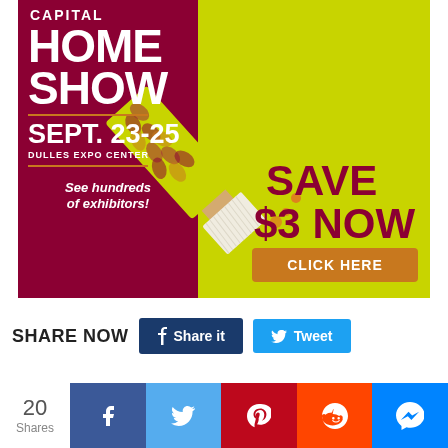[Figure (infographic): Capital Home Show advertisement banner with dark red and yellow-green background split, paint brush graphic, event dates SEPT. 23-25 at Dulles Expo Center, See hundreds of exhibitors!, SAVE $3 NOW, CLICK HERE button]
SHARE NOW
Share it
Tweet
20 Shares